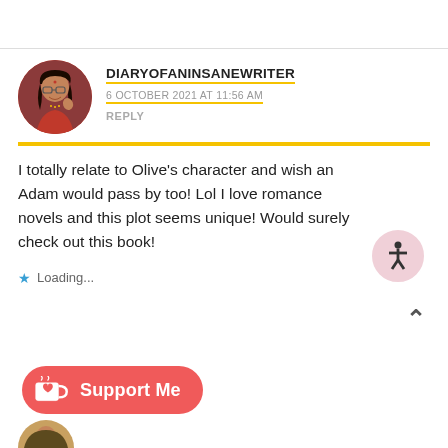DIARYOFANINSANEWRITER
6 OCTOBER 2021 AT 11:56 AM
REPLY
I totally relate to Olive’s character and wish an Adam would pass by too! Lol I love romance novels and this plot seems unique! Would surely check out this book!
Loading...
[Figure (illustration): Red coral-colored support me button with Ko-fi cup icon and heart]
[Figure (illustration): Circular profile photo of a woman with glasses and traditional jewelry]
[Figure (logo): Accessibility icon in circular pink badge]